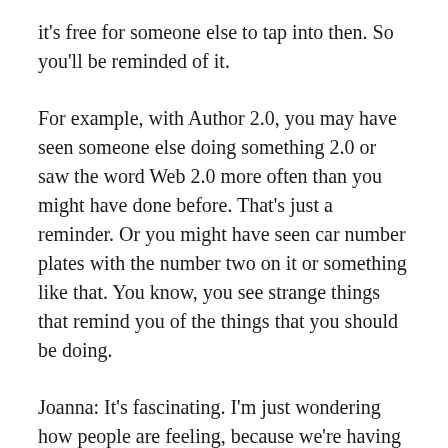it's free for someone else to tap into then. So you'll be reminded of it.
For example, with Author 2.0, you may have seen someone else doing something 2.0 or saw the word Web 2.0 more often than you might have done before. That's just a reminder. Or you might have seen car number plates with the number two on it or something like that. You know, you see strange things that remind you of the things that you should be doing.
Joanna: It's fascinating. I'm just wondering how people are feeling, because we're having quite a spiritual conversation, which is quite unlike most of the podcasts I'm doing. So I'm going to ask